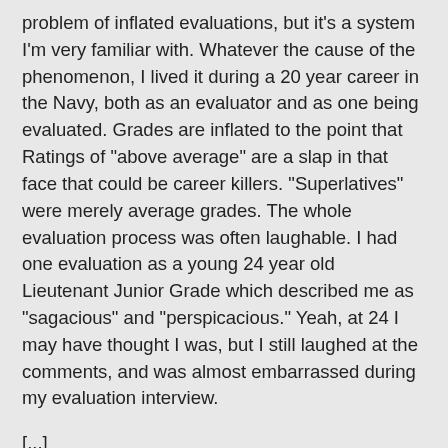problem of inflated evaluations, but it's a system I'm very familiar with. Whatever the cause of the phenomenon, I lived it during a 20 year career in the Navy, both as an evaluator and as one being evaluated. Grades are inflated to the point that Ratings of "above average" are a slap in that face that could be career killers. "Superlatives" were merely average grades. The whole evaluation process was often laughable. I had one evaluation as a young 24 year old Lieutenant Junior Grade which described me as "sagacious" and "perspicacious." Yeah, at 24 I may have thought I was, but I still laughed at the comments, and was almost embarrassed during my evaluation interview.
[...]
And here I thought grade inflation was only used by the Leftist School Administrations. But, no, the military finds it